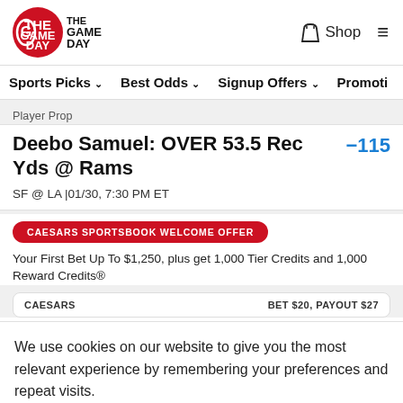[Figure (logo): The Game Day logo - red circular emblem with 'GD' letters and 'THE GAME DAY' text]
Shop  ≡
Sports Picks  ∨   Best Odds  ∨   Signup Offers  ∨   Promotic
Player Prop
Deebo Samuel: OVER 53.5 Rec Yds @ Rams
-115
SF @ LA |01/30, 7:30 PM ET
CAESARS SPORTSBOOK WELCOME OFFER
Your First Bet Up To $1,250, plus get 1,000 Tier Credits and 1,000 Reward Credits®
CAESARS   BET $20, PAYOUT $27
We use cookies on our website to give you the most relevant experience by remembering your preferences and repeat visits.
ACCEPT